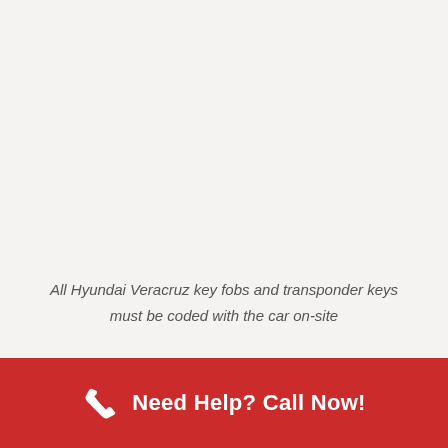All Hyundai Veracruz key fobs and transponder keys must be coded with the car on-site
Need Help? Call Now!